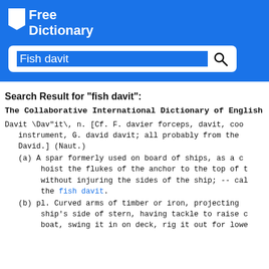[Figure (logo): Free Dictionary website logo with bookmark icon on blue background]
[Figure (screenshot): Search box with 'Fish davit' typed in, highlighted in blue, with magnifying glass icon]
Search Result for "fish davit":
The Collaborative International Dictionary of English
Davit \Dav"it\, n. [Cf. F. davier forceps, davit, coo instrument, G. david davit; all probably from the David.] (Naut.)
(a) A spar formerly used on board of ships, as a c hoist the flukes of the anchor to the top of t without injuring the sides of the ship; -- cal the fish davit.
(b) pl. Curved arms of timber or iron, projecting ship's side of stern, having tackle to raise c boat, swing it in on deck, rig it out for lowe